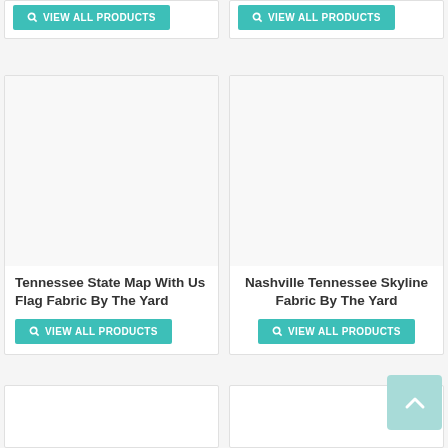[Figure (screenshot): Top partial product card left - VIEW ALL PRODUCTS button visible]
[Figure (screenshot): Top partial product card right - VIEW ALL PRODUCTS button visible]
Tennessee State Map With Us Flag Fabric By The Yard
VIEW ALL PRODUCTS
Nashville Tennessee Skyline Fabric By The Yard
VIEW ALL PRODUCTS
[Figure (other): Back to top button with chevron up icon]
[Figure (screenshot): Bottom partial product card left]
[Figure (screenshot): Bottom partial product card right]